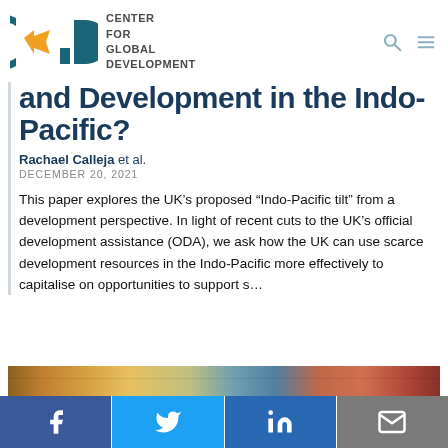CGD Center for Global Development
and Development in the Indo-Pacific?
Rachael Calleja et al.
DECEMBER 20, 2021
This paper explores the UK’s proposed “Indo-Pacific tilt” from a development perspective. In light of recent cuts to the UK’s official development assistance (ODA), we ask how the UK can use scarce development resources in the Indo-Pacific more effectively to capitalise on opportunities to support s…
[Figure (photo): Partial view of colorful banknotes/currency from various countries]
Social share buttons: Facebook, Twitter, LinkedIn, Email